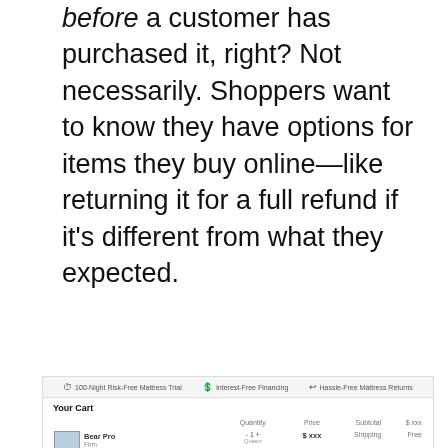before a customer has purchased it, right? Not necessarily. Shoppers want to know they have options for items they buy online—like returning it for a full refund if it's different from what they expected.
Reduce shopping cart abandonment by showcasing your return policy mid-checkout. Even a few small graphics to explain the no-risk purchase, like this example from Bear Mattress, can do the trick.
[Figure (screenshot): Screenshot of Bear Mattress checkout page showing a trust bar with '100-Night Risk-Free Mattress Trial', 'Interest-Free Financing', and 'Hassle-Free Mattress Returns', followed by a 'Your Cart' section with a product listing for Bear Pro showing Quantity, Price, Subtotal, Shipping, and Tax fields.]